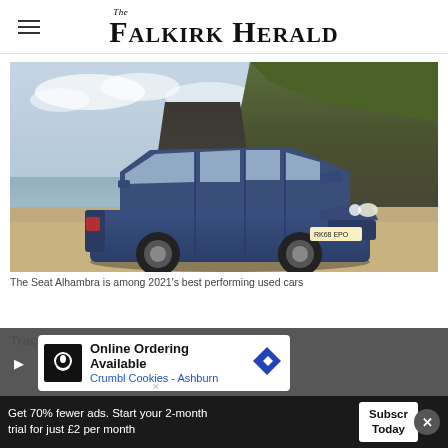The Falkirk Herald
[Figure (photo): A blue SEAT Alhambra MPV parked on a sandy beach with rocky cliffs in the background under a cloudy sky.]
The Seat Alhambra is among 2021's best performing used cars
[Figure (infographic): Advertisement banner: Online Ordering Available - Crumbl Cookies - Ashburn, with play button, cookie icon, and diamond-shaped navigation icon.]
adverts, the index revealed that the average
Get 70% fewer ads. Start your 2-month trial for just £2 per month
Subscribe Today